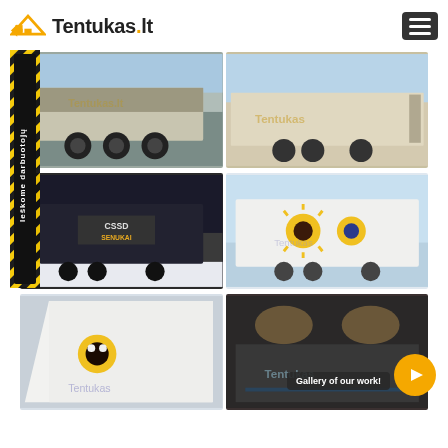Tentukas.lt
[Figure (photo): Truck semi-trailer with gray tarpaulin, rear three-quarter view, Tentukas.lt logo visible]
[Figure (photo): White/beige semi-trailer side view with Tentukas.lt logo]
[Figure (photo): Dark semi-trailer with CSSD Senukai logo, recruitment badge visible]
[Figure (photo): White semi-trailer side view with colorful face/sun graphic and Tentukas.lt logo]
[Figure (photo): White box trailer corner/rear view with mascot graphics and Tentukas.lt logo]
[Figure (photo): Interior or side of refrigerated trailer with Tentukas.lt branding]
Gallery of our work!